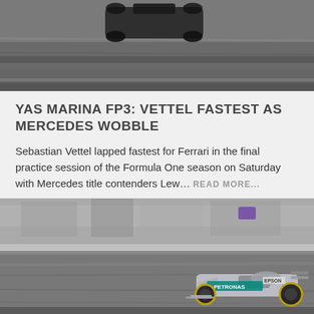[Figure (photo): Aerial/panning shot of a Formula One racing car on track, black and white tones, blurred background]
YAS MARINA FP3: VETTEL FASTEST AS MERCEDES WOBBLE
Sebastian Vettel lapped fastest for Ferrari in the final practice session of the Formula One season on Saturday with Mercedes title contenders Lew…  READ MORE...
[Figure (photo): Panning shot of a silver Mercedes F1 car with PETRONAS and EPSON livery speeding along a pit lane or track, motion-blurred background]